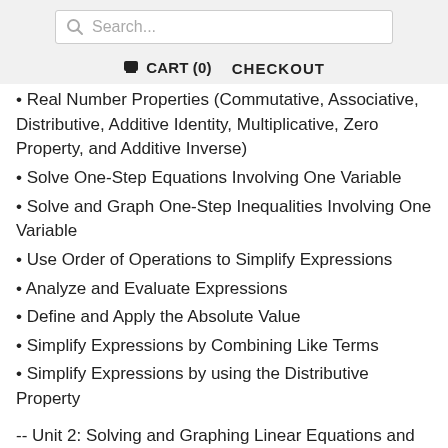[Figure (screenshot): Search bar with magnifying glass icon and placeholder text 'Search...']
🛒 CART (0)   CHECKOUT
• Real Number Properties (Commutative, Associative, Distributive, Additive Identity, Multiplicative, Zero Property, and Additive Inverse)
• Solve One-Step Equations Involving One Variable
• Solve and Graph One-Step Inequalities Involving One Variable
• Use Order of Operations to Simplify Expressions
• Analyze and Evaluate Expressions
• Define and Apply the Absolute Value
• Simplify Expressions by Combining Like Terms
• Simplify Expressions by using the Distributive Property
-- Unit 2: Solving and Graphing Linear Equations and Inequalities
• Solve Two-Step Equations involving One Variable